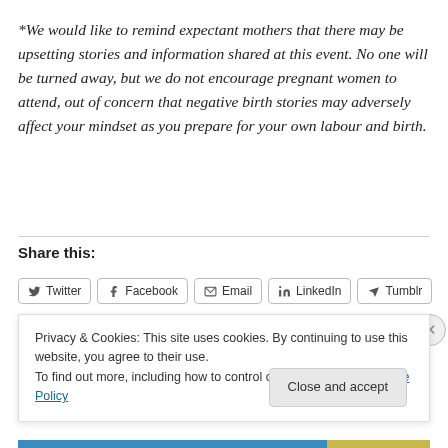*We would like to remind expectant mothers that there may be upsetting stories and information shared at this event. No one will be turned away, but we do not encourage pregnant women to attend, out of concern that negative birth stories may adversely affect your mindset as you prepare for your own labour and birth.
Share this:
Twitter | Facebook | Email | LinkedIn | Tumblr
Privacy & Cookies: This site uses cookies. By continuing to use this website, you agree to their use. To find out more, including how to control cookies, see here: Cookie Policy
Close and accept